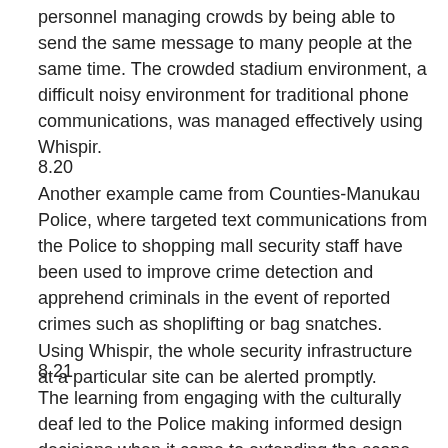personnel managing crowds by being able to send the same message to many people at the same time. The crowded stadium environment, a difficult noisy environment for traditional phone communications, was managed effectively using Whispir.
8.20
Another example came from Counties-Manukau Police, where targeted text communications from the Police to shopping mall security staff have been used to improve crime detection and apprehend criminals in the event of reported crimes such as shoplifting or bag snatches. Using Whispir, the whole security infrastructure at a particular site can be alerted promptly.
8.21
The learning from engaging with the culturally deaf led to the Police making informed design decisions when it came to extending the scope of the deaf text system to the wider hearing-impaired community.
8.22